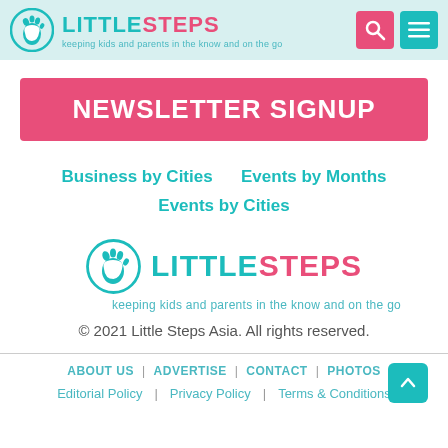[Figure (logo): Little Steps logo with footprint circle icon, teal 'LITTLE' and pink 'STEPS' text, tagline 'keeping kids and parents in the know and on the go'. Header bar with teal background, pink search button and teal menu button.]
NEWSLETTER SIGNUP
Business by Cities    Events by Months    Events by Cities
[Figure (logo): Little Steps logo large version with footprint circle, teal LITTLE pink STEPS, tagline 'keeping kids and parents in the know and on the go']
© 2021 Little Steps Asia. All rights reserved.
ABOUT US | ADVERTISE | CONTACT | PHOTOS | Editorial Policy | Privacy Policy | Terms & Conditions